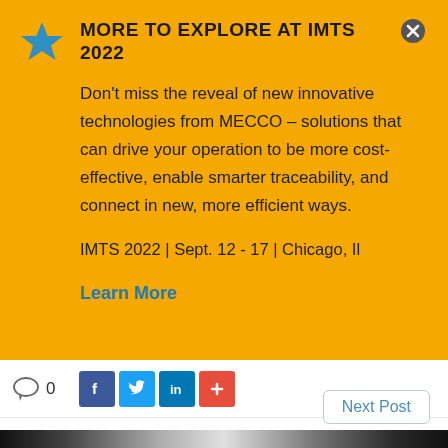MORE TO EXPLORE AT IMTS 2022
Don't miss the reveal of new innovative technologies from MECCO – solutions that can drive your operation to be more cost-effective, enable smarter traceability, and connect in new, more efficient ways.
IMTS 2022 | Sept. 12 - 17 | Chicago, Il
Learn More
0
Next Post
[Figure (photo): Bottom strip showing industrial equipment/tools in dark background]